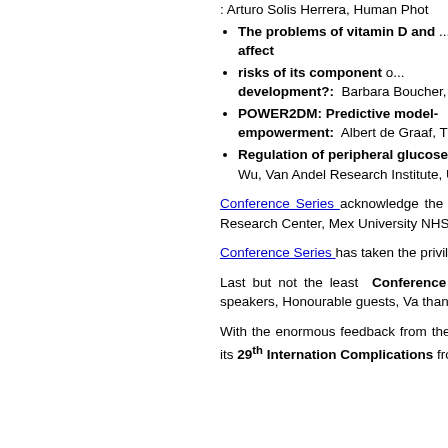: Arturo Solis Herrera, Human Phot...
The problems of vitamin D and ... affect
risks of its component d... development?: Barbara Boucher,
POWER2DM: Predictive model-... empowerment: Albert de Graaf, T...
Regulation of peripheral glucose... Wu, Van Andel Research Institute, U...
Conference Series  acknowledge the sup... were able to run smoothly the scientific ... Photosynthesis Research Center, Mex... University NHS Foundation Trust, UK a... Military Medical City, Saudi Arabia
Conference Series  has taken the privile... Committee Members and Keynote Speake...
Last but not the least Conference Seri... gratitude to all the supporters from the Ed... Keynote speakers, Honourable guests, Va... thanks to the Media partners for their pro...
With the enormous feedback from the... International Conference on Prevention of... glad to announce its 29th Internation... Complications from September 27-28, 20...